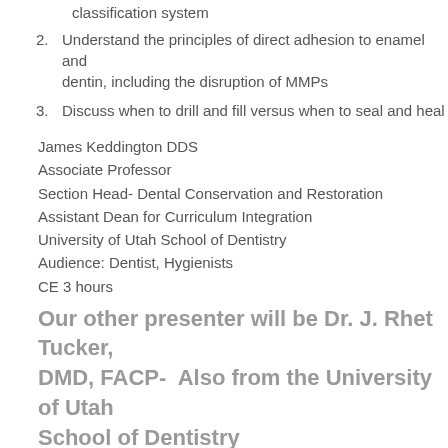classification system
2. Understand the principles of direct adhesion to enamel and dentin, including the disruption of MMPs
3. Discuss when to drill and fill versus when to seal and heal
James Keddington DDS
Associate Professor
Section Head- Dental Conservation and Restoration
Assistant Dean for Curriculum Integration
University of Utah School of Dentistry
Audience: Dentist, Hygienists
CE 3 hours
Our other presenter will be Dr. J. Rhet Tucker, DMD, FACP-  Also from the University of Utah School of Dentistry
CE Presentation:  The Digital Denture Workflow, Bruxism...or is it?  And how to treat the cancer patient.
J. Rhet Tucker, DMD, FACP